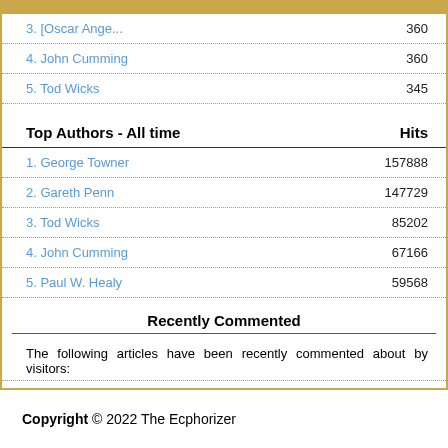3. [truncated] 360
4. John Cumming 360
5. Tod Wicks 345
Top Authors - All time  Hits
1. George Towner 157888
2. Gareth Penn 147729
3. Tod Wicks 85202
4. John Cumming 67166
5. Paul W. Healy 59568
Recently Commented
The following articles have been recently commented about by visitors:
| Article | User |
| --- | --- |
Copyright © 2022 The Ecphorizer